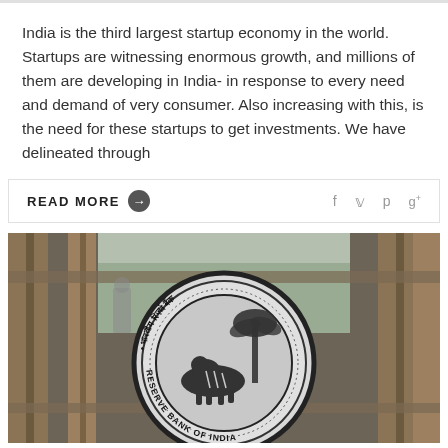India is the third largest startup economy in the world. Startups are witnessing enormous growth, and millions of them are developing in India- in response to every need and demand of very consumer. Also increasing with this, is the need for these startups to get investments. We have delineated through
READ MORE ➔   f  ✓  p  g+
[Figure (photo): Photograph of the Reserve Bank of India (RBI) emblem/seal on a metal gate, showing the circular logo with a tiger and palm tree, text in Hindi (Bharatiya Rizarva Bainka) and English (RESERVE BANK OF INDIA) around the edge.]